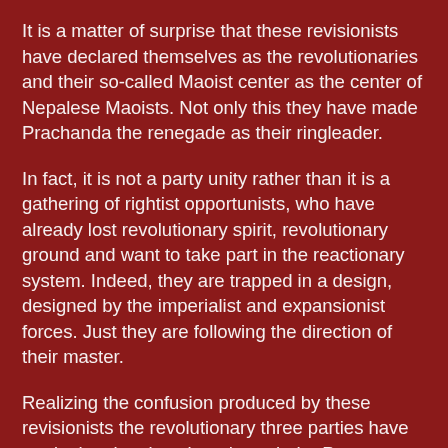It is a matter of surprise that these revisionists have declared themselves as the revolutionaries and their so-called Maoist center as the center of Nepalese Maoists. Not only this they have made Prachanda the renegade as their ringleader.
In fact, it is not a party unity rather than it is a gathering of rightist opportunists, who have already lost revolutionary spirit, revolutionary ground and want to take part in the reactionary system. Indeed, they are trapped in a design, designed by the imperialist and expansionist forces. Just they are following the direction of their master.
Realizing the confusion produced by these revisionists the revolutionary three parties have made the situation clear through the Press statement. They have urged the revolutionary cadres and oppressed people not to be confused and stand firmly on the side of Marxism-Leninism-Maoism and New Democratic Revolution. The revolutionary parties also have urge to wage ideological struggle against the revisionists. Here is the full text of the Press Statement.)
Joint Statement on so-called Maoist unification